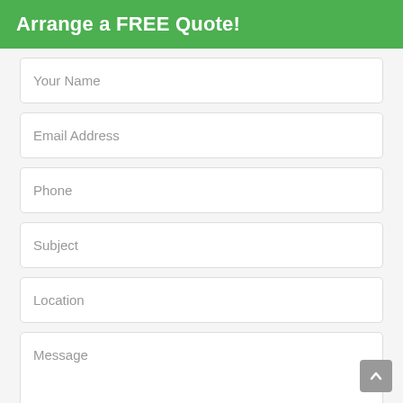Arrange a FREE Quote!
Your Name
Email Address
Phone
Subject
Location
Message
By pressing submit, you agree that we can contact you via the supplied details. We promise to only use your